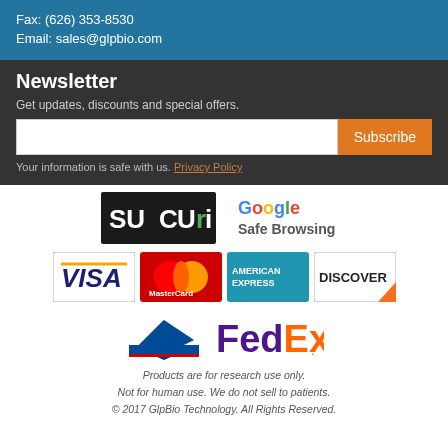Fax: (626) 353-8530
Email: sales@glpbio.com
Newsletter
Get updates, discounts and special offers.
Your information is safe with us. Privacy Policy
[Figure (logo): Sucuri security logo and Google Safe Browsing logo]
[Figure (logo): Visa, MasterCard, American Express, Discover payment logos]
[Figure (logo): USPS and FedEx shipping logos]
Products are for research use only. Not for human use. We do not sell to patients. © 2017 GlpBio Technology. All Rights Reserved.